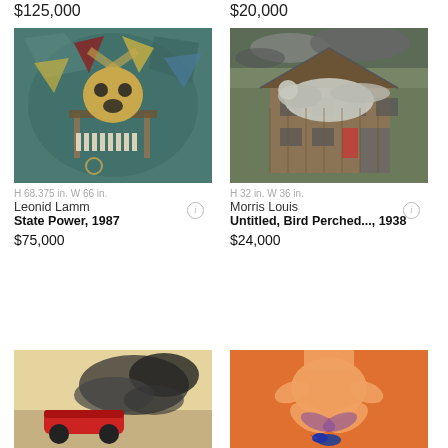$125,000
$20,000
[Figure (photo): Abstract cubist-style painting with a mask-like face, geometric shapes, and architectural elements on a teal background — Leonid Lamm, State Power, 1987]
H 68.375 in. W 66 in.
Leonid Lamm
State Power, 1987
$75,000
[Figure (photo): Painting of a large bird perched on a weathered wooden house with stormy sky — Morris Louis, Untitled, Bird Perched..., 1938]
H 32 in. W 36 in.
Morris Louis
Untitled, Bird Perched..., 1938
$24,000
[Figure (photo): Photograph of a racing car on track with black smoke — partial view, bottom left]
[Figure (photo): Illustration of a figure with a bird on an orange background — partial view, bottom right]